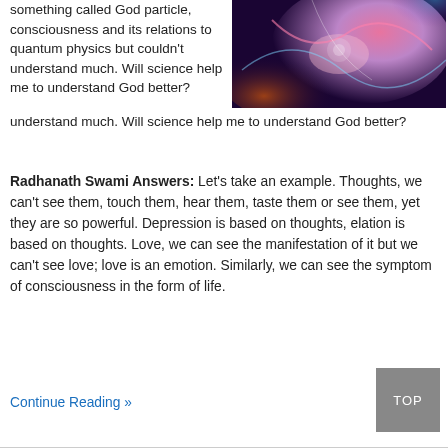something called God particle, consciousness and its relations to quantum physics but couldn't understand much. Will science help me to understand God better?
[Figure (photo): Abstract colorful image of glowing particles and light streaks suggesting quantum/cosmic themes with purple, pink, orange, and blue tones]
Radhanath Swami Answers: Let's take an example. Thoughts, we can't see them, touch them, hear them, taste them or see them, yet they are so powerful. Depression is based on thoughts, elation is based on thoughts. Love, we can see the manifestation of it but we can't see love; love is an emotion. Similarly, we can see the symptom of consciousness in the form of life.
Continue Reading »